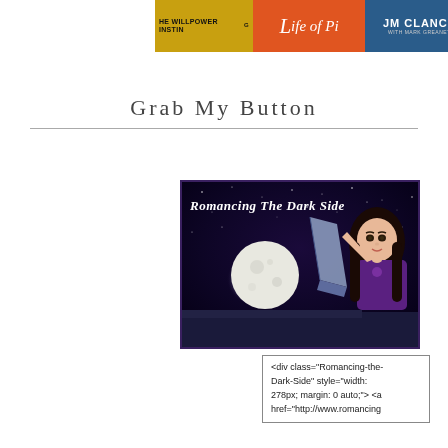[Figure (illustration): Header banner showing book covers: 'The Willpower Instinct' (yellow/gold background), 'Life of Pi' (orange background, stylized italic text), and 'Tom Clancy' (blue background, bold white text)]
Grab My Button
[Figure (illustration): Illustration for 'Romancing The Dark Side' blog button — cartoon girl with dark hair reading a book under a full moon against a starry night sky. Text reads 'Romancing The Dark Side' in white script at the top.]
<div class="Romancing-the-Dark-Side" style="width: 278px; margin: 0 auto;"> <a href="http://www.romancing